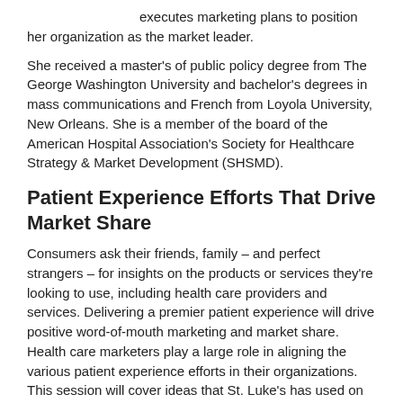executes marketing plans to position her organization as the market leader.
She received a master's of public policy degree from The George Washington University and bachelor's degrees in mass communications and French from Loyola University, New Orleans. She is a member of the board of the American Hospital Association's Society for Healthcare Strategy & Market Development (SHSMD).
Patient Experience Efforts That Drive Market Share
Consumers ask their friends, family – and perfect strangers – for insights on the products or services they're looking to use, including health care providers and services. Delivering a premier patient experience will drive positive word-of-mouth marketing and market share. Health care marketers play a large role in aligning the various patient experience efforts in their organizations. This session will cover ideas that St. Luke's has used on how to effectively do this.
[Figure (photo): Headshot photo of Jessica Stauber]
Jessica Stauber, MBA, APR, Director of Marketing and Business Planning, St. Luke's